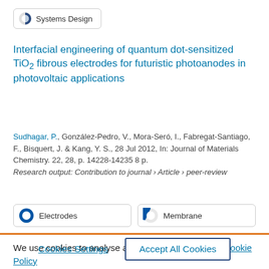[Figure (logo): Systems Design logo with circular icon and text]
Interfacial engineering of quantum dot-sensitized TiO2 fibrous electrodes for futuristic photoanodes in photovoltaic applications
Sudhagar, P., González-Pedro, V., Mora-Seró, I., Fabregat-Santiago, F., Bisquert, J. & Kang, Y. S., 28 Jul 2012, In: Journal of Materials Chemistry. 22, 28, p. 14228-14235 8 p.
Research output: Contribution to journal › Article › peer-review
[Figure (infographic): Two badge icons: Electrodes (100% filled circle) and Membrane (75% filled circle)]
We use cookies to analyse and improve our service. Cookie Policy
Cookies Settings   Accept All Cookies